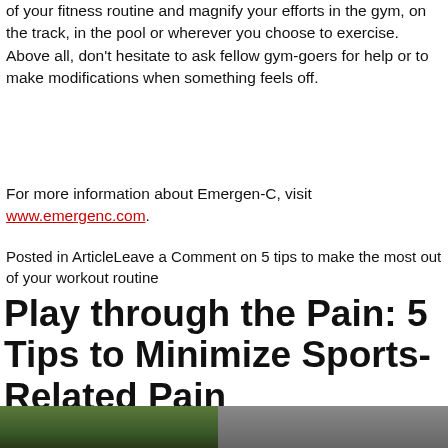of your fitness routine and magnify your efforts in the gym, on the track, in the pool or wherever you choose to exercise. Above all, don't hesitate to ask fellow gym-goers for help or to make modifications when something feels off.
For more information about Emergen-C, visit www.emergenc.com.
Posted in ArticleLeave a Comment on 5 tips to make the most out of your workout routine
Play through the Pain: 5 Tips to Minimize Sports-Related Pain
Posted on July 16, 2019August 22, 2019 by Bernard Doan
[Figure (photo): Outdoor photo strip at bottom of page showing trees and a building]